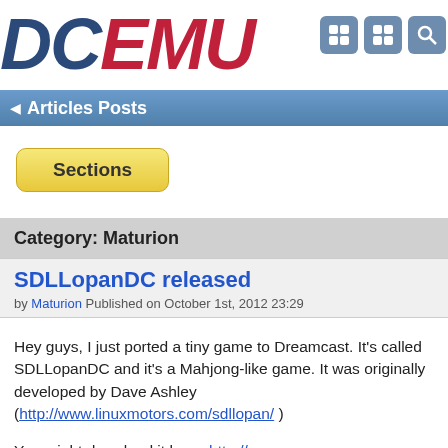[Figure (logo): DCEMU logo with DC in dark blue italic and EMU in red italic, large bold font]
Articles Posts
Sections
Category: Maturion
SDLLopanDC released
by Maturion Published on October 1st, 2012 23:29
Hey guys, I just ported a tiny game to Dreamcast. It's called SDLLopanDC and it's a Mahjong-like game. It was originally developed by Dave Ashley (http://www.linuxmotors.com/sdllopan/ )
You might download it here: http://www.sega-dc.de/dateien/spiele...opandc-1.0.rar